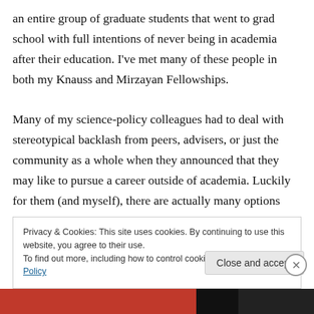an entire group of graduate students that went to grad school with full intentions of never being in academia after their education. I've met many of these people in both my Knauss and Mirzayan Fellowships.

Many of my science-policy colleagues had to deal with stereotypical backlash from peers, advisers, or just the community as a whole when they announced that they may like to pursue a career outside of academia. Luckily for them (and myself), there are actually many options outside the ivory tower, many of which in career paths
Privacy & Cookies: This site uses cookies. By continuing to use this website, you agree to their use.
To find out more, including how to control cookies, see here: Cookie Policy
Close and accept